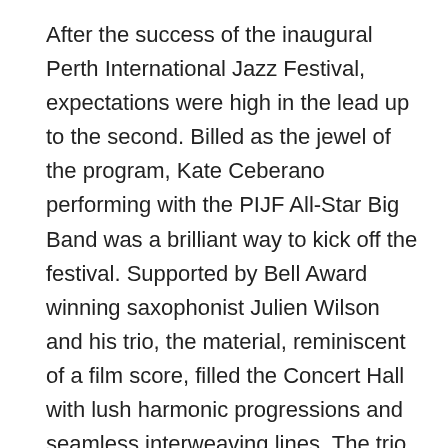After the success of the inaugural Perth International Jazz Festival, expectations were high in the lead up to the second. Billed as the jewel of the program, Kate Ceberano performing with the PIJF All-Star Big Band was a brilliant way to kick off the festival. Supported by Bell Award winning saxophonist Julien Wilson and his trio, the material, reminiscent of a film score, filled the Concert Hall with lush harmonic progressions and seamless interweaving lines. The trio comprising of Steve Magnusson (guitar) and Steve Grant (accordion), provided the perfect contrast for what was to come.